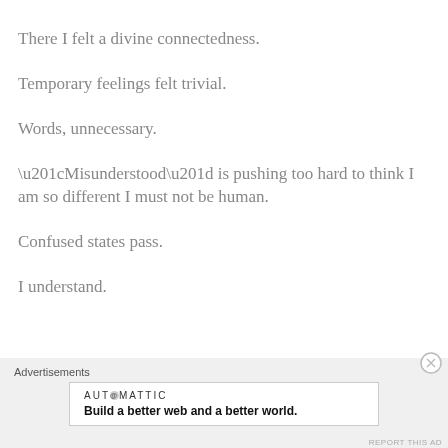There I felt a divine connectedness.
Temporary feelings felt trivial.
Words, unnecessary.
“Misunderstood” is pushing too hard to think I am so different I must not be human.
Confused states pass.
I understand.
Advertisements
AUTOMATTIC
Build a better web and a better world.
REPORT THIS AD